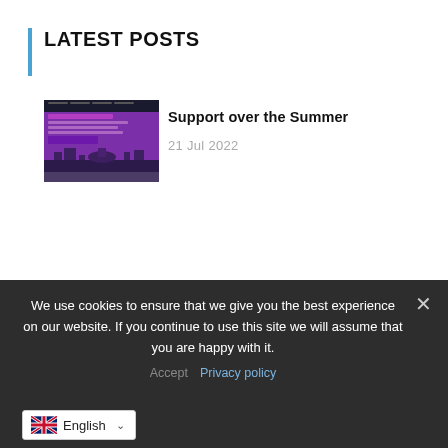LATEST POSTS
[Figure (screenshot): Screenshot of a purple/magenta website displayed on a laptop screen]
Support over the Summer
21 Jul 2022
[Figure (logo): Brighton & Hove City Council logo — pink and cyan overlapping squares]
Holiday Consultation Line
21 Jul 2022
[Figure (logo): Circular dotted logo emblem]
General Safety Advice – Brighton
We use cookies to ensure that we give you the best experience on our website. If you continue to use this site we will assume that you are happy with it.
Privacy policy
English